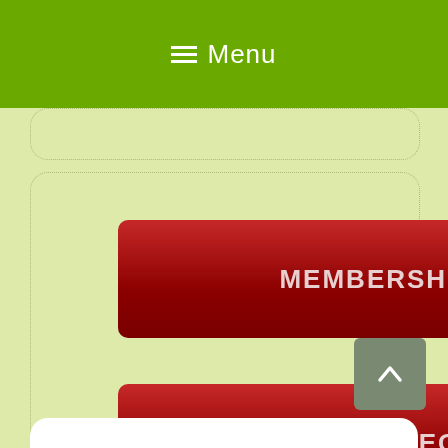Menu
MEMBERSHIP PACKAGE
SPECIALS